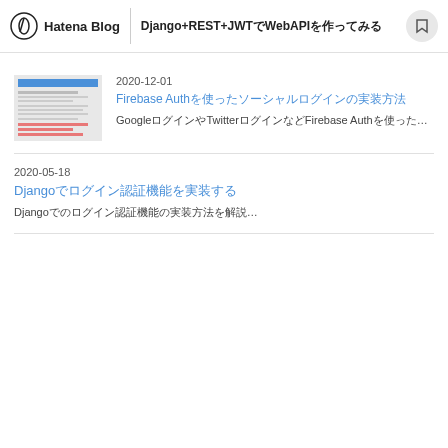Hatena Blog | Django+REST+JWTでWebAPIを作ってみる
2020-12-01
Firebase Authを使ったソーシャルログインの実装方法
GoogleログインやTwitterログインなどFirebase Authを使った...
2020-05-18
Djangoでログイン認証機能を実装する
Djangoでのログイン認証機能の実装方法を解説...